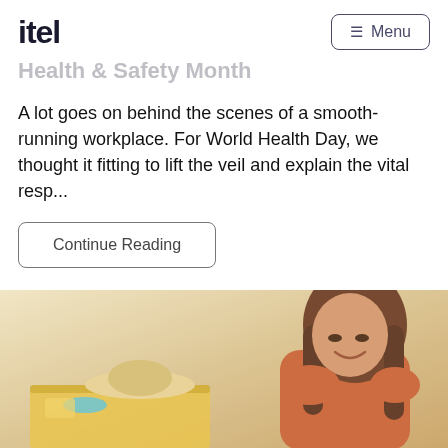itel | Menu
Health & Safety Month
A lot goes on behind the scenes of a smooth-running workplace. For World Health Day, we thought it fitting to lift the veil and explain the vital resp...
Continue Reading
[Figure (photo): Young woman with long brown hair wearing an orange top, smiling and looking down. A suitcase with a hat and travel accessories is visible in front of her. Warm, bright background.]